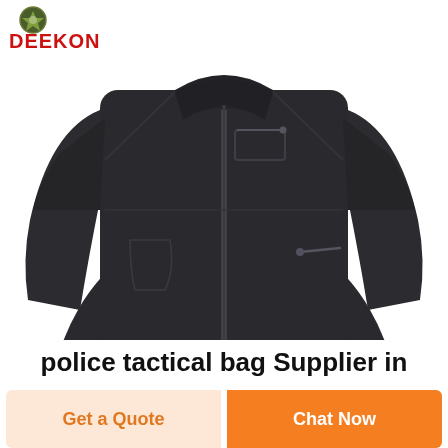[Figure (logo): DEEKON brand logo with military/tactical emblem above red bold text DEEKON]
[Figure (photo): A dark charcoal/black tactical softshell jacket displayed on a person/mannequin, showing zipper front, chest pocket, side pockets, and stand collar]
police tactical bag Supplier in
Get a Quote
Chat Now